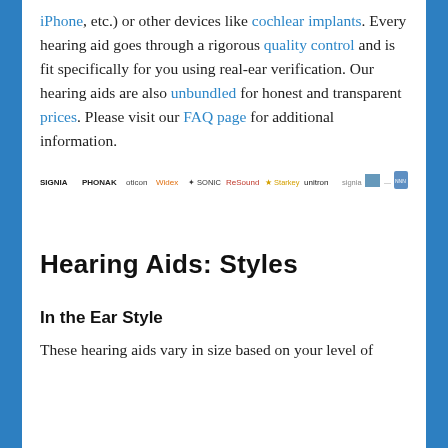iPhone, etc.) or other devices like cochlear implants. Every hearing aid goes through a rigorous quality control and is fit specifically for you using real-ear verification. Our hearing aids are also unbundled for honest and transparent prices. Please visit our FAQ page for additional information.
[Figure (logo): A row of hearing aid brand logos: SIGNIA, PHONAK, oticon, Widex, SONIC, ReSound, Starkey, unitron, signia, and others]
Hearing Aids: Styles
In the Ear Style
These hearing aids vary in size based on your level of